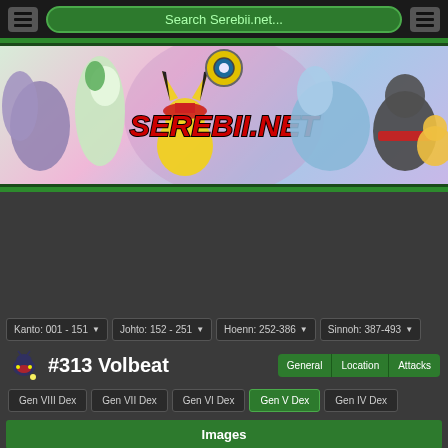Search Serebii.net...
[Figure (illustration): Serebii.net banner with various Pokemon characters including Gardevoir, Pikachu, Lapras, Incineroar and others, with Serebii.net logo in the center]
| Kanto: 001-151 | Johto: 152-251 | Hoenn: 252-386 | Sinnoh: 387-493 |
| --- | --- | --- | --- |
#313 Volbeat
Images
Normal Sprite
Shiny Sprite